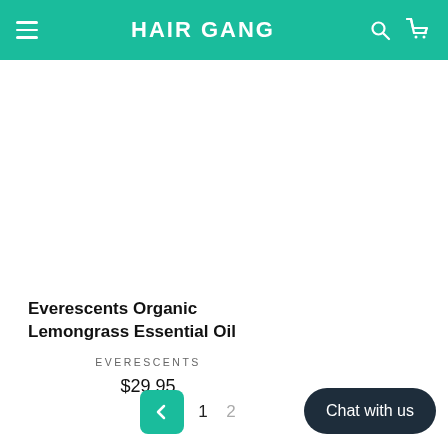HAIR GANG
Everescents Organic Lemongrass Essential Oil
EVERESCENTS
$29.95
Chat with us